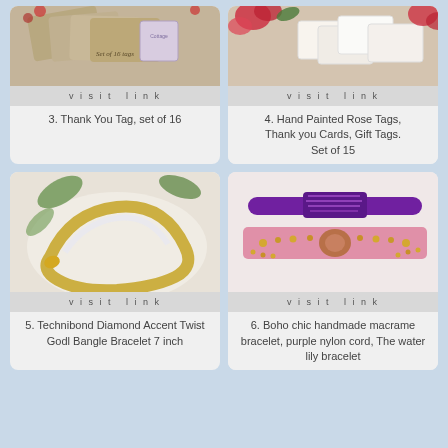[Figure (photo): Thank You Tag product photo - kraft paper tags set of 16]
visit link
3. Thank You Tag, set of 16
[Figure (photo): Hand painted rose tags product photo]
visit link
4. Hand Painted Rose Tags, Thank you Cards, Gift Tags. Set of 15
[Figure (photo): Technibond Diamond Accent Twist Gold Bangle Bracelet 7 inch product photo]
visit link
5. Technibond Diamond Accent Twist Godl Bangle Bracelet 7 inch
[Figure (photo): Boho chic handmade macrame bracelet purple nylon cord The water lily bracelet]
visit link
6. Boho chic handmade macrame bracelet, purple nylon cord, The water lily bracelet